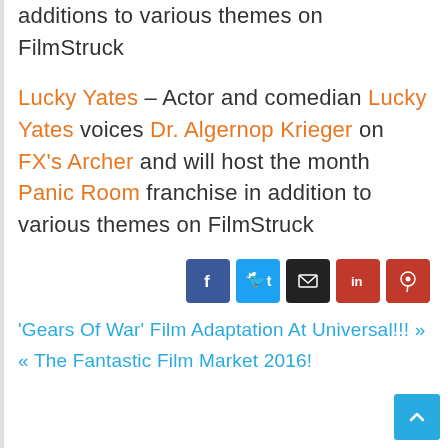additions to various themes on FilmStruck
Lucky Yates – Actor and comedian Lucky Yates voices Dr. Algernop Krieger on FX's Archer and will host the month Panic Room franchise in addition to various themes on FilmStruck
[Figure (infographic): Social share buttons: Facebook (blue), Twitter (light blue), Email (black), LinkedIn (red), Pinterest (red)]
'Gears Of War' Film Adaptation At Universal!!! »
« The Fantastic Film Market 2016!